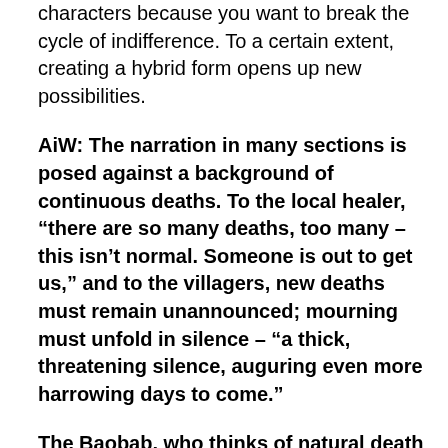characters because you want to break the cycle of indifference. To a certain extent, creating a hybrid form opens up new possibilities.
AiW: The narration in many sections is posed against a background of continuous deaths. To the local healer, “there are so many deaths, too many – this isn’t normal. Someone is out to get us,” and to the villagers, new deaths must remain unannounced; mourning must unfold in silence – “a thick, threatening silence, auguring even more harrowing days to come.”
The Baobab, who thinks of natural death as renewal —“Death does not frighten me, it is bound up with life”—argues that while in the past the flow of death and rebirth was celebrated (and accepted as a kind of past that births renewal) the...